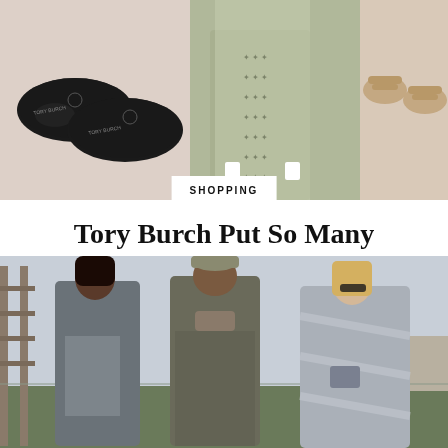[Figure (photo): Top collage photo showing Tory Burch black ballet flats (top view, two shoes), a model wearing a grey patterned blazer and matching pants suit, and beige flat sandals on a beige textured background.]
SHOPPING
Tory Burch Put So Many Designer Pieces on Sale For Labor Day–Shop These 11 Deals
Run, don't walk.
[Figure (photo): Bottom photo showing three women standing outdoors in an industrial/urban setting. Left woman wears a grey blazer over a sequined top. Middle woman wears a camo/floral print outfit with a cap and scarf. Right woman wears a silver metallic outfit with a crossbody bag and sunglasses.]